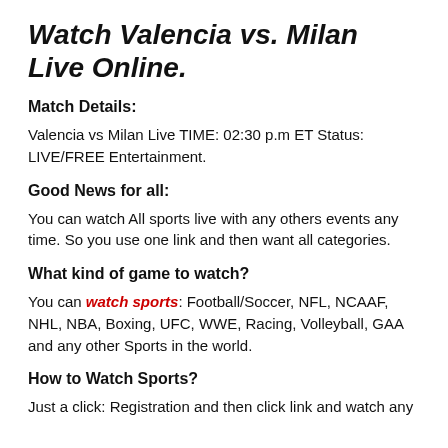Watch Valencia vs. Milan Live Online.
Match Details:
Valencia vs Milan Live TIME: 02:30 p.m ET Status: LIVE/FREE Entertainment.
Good News for all:
You can watch All sports live with any others events any time. So you use one link and then want all categories.
What kind of game to watch?
You can watch sports: Football/Soccer, NFL, NCAAF, NHL, NBA, Boxing, UFC, WWE, Racing, Volleyball, GAA and any other Sports in the world.
How to Watch Sports?
Just a click: Registration and then click link and watch any